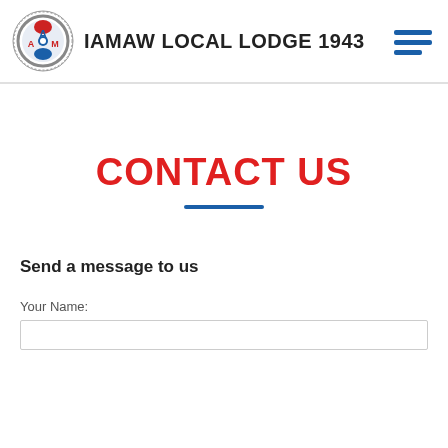IAMAW LOCAL LODGE 1943
CONTACT US
Send a message to us
Your Name: